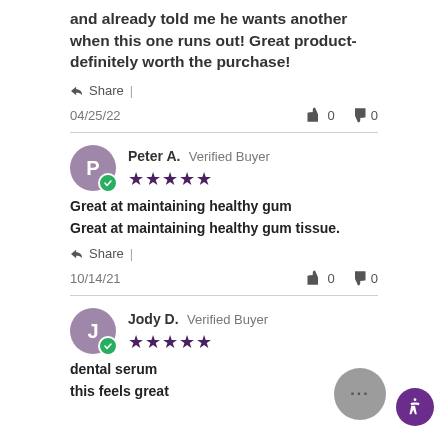and already told me he wants another when this one runs out! Great product- definitely worth the purchase!
Share |
04/25/22   👍 0   👎 0
Peter A. Verified Buyer ★★★★★
Great at maintaining healthy gum
Great at maintaining healthy gum tissue.
Share |
10/14/21   👍 0   👎 0
Jody D. Verified Buyer ★★★★★
dental serum
this feels great